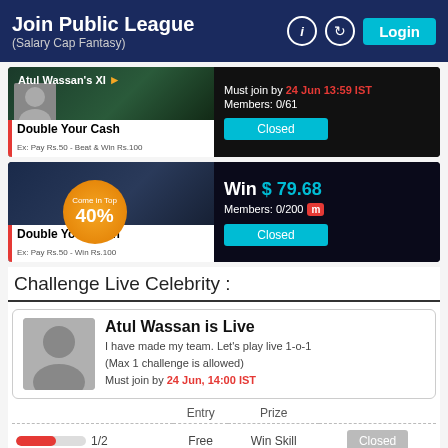Join Public League (Salary Cap Fantasy) — Login
[Figure (screenshot): First fantasy league card: Atul Wassan's XI. Must join by 24 Jun 13:59 IST. Members: 0/61. Double Your Cash. Ex: Pay Rs.50 - Beat & Win Rs.100. Closed button.]
[Figure (screenshot): Second fantasy league card: Come in Top 40%. Win $79.68. Members: 0/200. Double Your Cash. Ex: Pay Rs.50 - Win Rs.100. Closed button.]
Challenge Live Celebrity :
Atul Wassan is Live
I have made my team. Let's play live 1-o-1
(Max 1 challenge is allowed)
Must join by 24 Jun, 14:00 IST
|  | Entry | Prize |  |
| --- | --- | --- | --- |
| 1/2 | Free | Win Skill | Closed |